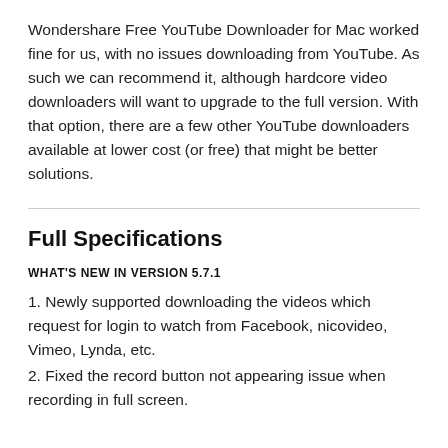Wondershare Free YouTube Downloader for Mac worked fine for us, with no issues downloading from YouTube. As such we can recommend it, although hardcore video downloaders will want to upgrade to the full version. With that option, there are a few other YouTube downloaders available at lower cost (or free) that might be better solutions.
Full Specifications
WHAT'S NEW IN VERSION 5.7.1
1. Newly supported downloading the videos which request for login to watch from Facebook, nicovideo, Vimeo, Lynda, etc.
2. Fixed the record button not appearing issue when recording in full screen.